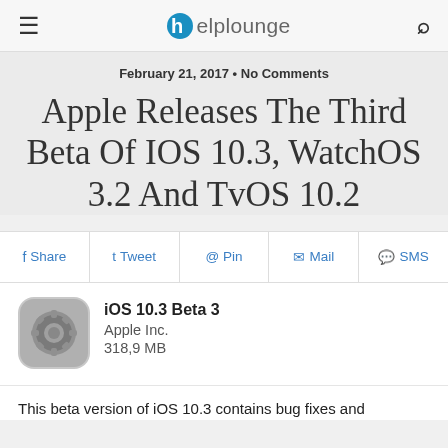Helplounge
February 21, 2017 • No Comments
Apple Releases The Third Beta Of IOS 10.3, WatchOS 3.2 And TvOS 10.2
Share  Tweet  Pin  Mail  SMS
[Figure (screenshot): iOS Settings app icon — rounded square with gear icon, gray gradient background]
iOS 10.3 Beta 3
Apple Inc.
318,9 MB
This beta version of iOS 10.3 contains bug fixes and